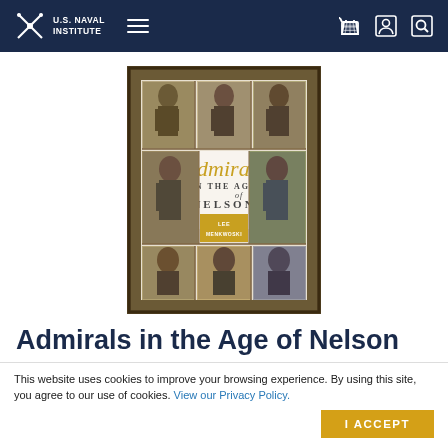[Figure (logo): U.S. Naval Institute logo with crossed anchors/swords icon and text]
[Figure (illustration): Book cover of 'Admirals in the Age of Nelson' by Lee Menkwoski, showing a 3x3 grid of portrait paintings of naval admirals in period dress against a textured dark background, with a white center band containing stylized gold italic title text and a gold square with author name]
Admirals in the Age of Nelson
This website uses cookies to improve your browsing experience. By using this site, you agree to our use of cookies. View our Privacy Policy.